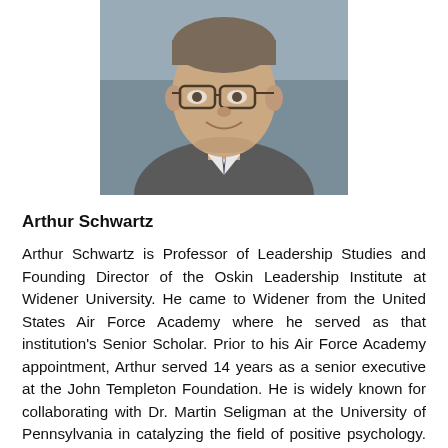[Figure (photo): Headshot of Arthur Schwartz, a middle-aged man wearing glasses and a suit with tie, smiling, black and white / muted tone photo]
Arthur Schwartz
Arthur Schwartz is Professor of Leadership Studies and Founding Director of the Oskin Leadership Institute at Widener University. He came to Widener from the United States Air Force Academy where he served as that institution’s Senior Scholar. Prior to his Air Force Academy appointment, Arthur served 14 years as a senior executive at the John Templeton Foundation. He is widely known for collaborating with Dr. Martin Seligman at the University of Pennsylvania in catalyzing the field of positive psychology. Arthur’s current research focuses on the antecedents of ethical